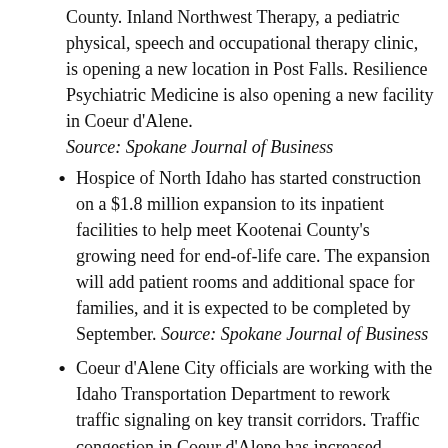County. Inland Northwest Therapy, a pediatric physical, speech and occupational therapy clinic, is opening a new location in Post Falls. Resilience Psychiatric Medicine is also opening a new facility in Coeur d'Alene. Source: Spokane Journal of Business
Hospice of North Idaho has started construction on a $1.8 million expansion to its inpatient facilities to help meet Kootenai County's growing need for end-of-life care. The expansion will add patient rooms and additional space for families, and it is expected to be completed by September. Source: Spokane Journal of Business
Coeur d'Alene City officials are working with the Idaho Transportation Department to rework traffic signaling on key transit corridors. Traffic congestion in Coeur d'Alene has increased substantially as the population has grown, and city officials believe that turning control of the signaling over to ITD will help alleviate congestion. Source: Coeur d'Alene Press